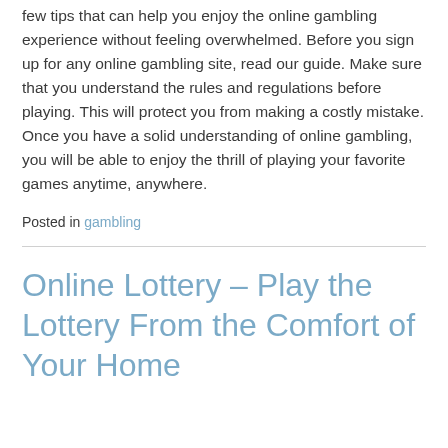few tips that can help you enjoy the online gambling experience without feeling overwhelmed. Before you sign up for any online gambling site, read our guide. Make sure that you understand the rules and regulations before playing. This will protect you from making a costly mistake. Once you have a solid understanding of online gambling, you will be able to enjoy the thrill of playing your favorite games anytime, anywhere.
Posted in gambling
Online Lottery – Play the Lottery From the Comfort of Your Home